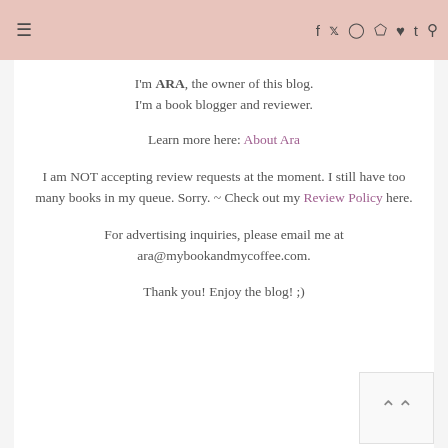≡  f  y  ○  ⊕  ♥  t  🔍
I'm ARA, the owner of this blog.
I'm a book blogger and reviewer.

Learn more here: About Ara

I am NOT accepting review requests at the moment. I still have too many books in my queue. Sorry. ~ Check out my Review Policy here.

For advertising inquiries, please email me at ara@mybookandmycoffee.com.

Thank you! Enjoy the blog! ;)